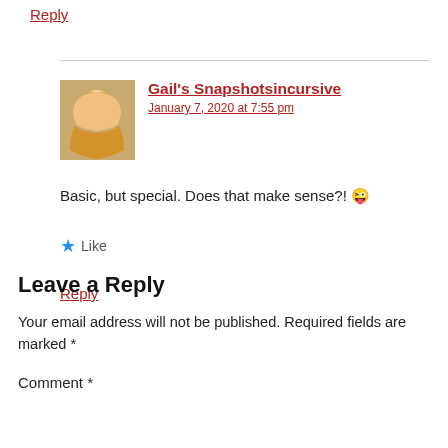Reply
Gail's Snapshotsincursive
January 7, 2020 at 7:55 pm
[Figure (photo): Avatar photo of Gail, a woman with blonde hair wearing a yellow top]
Basic, but special. Does that make sense?! 😜
★ Like
Reply
Leave a Reply
Your email address will not be published. Required fields are marked *
Comment *